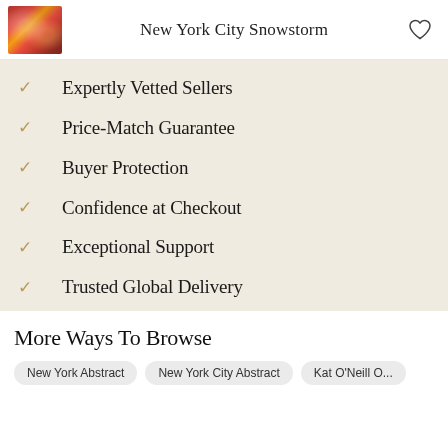New York City Snowstorm
Expertly Vetted Sellers
Price-Match Guarantee
Buyer Protection
Confidence at Checkout
Exceptional Support
Trusted Global Delivery
More Ways To Browse
New York Abstract
New York City Abstract
Kat O'Neill O...